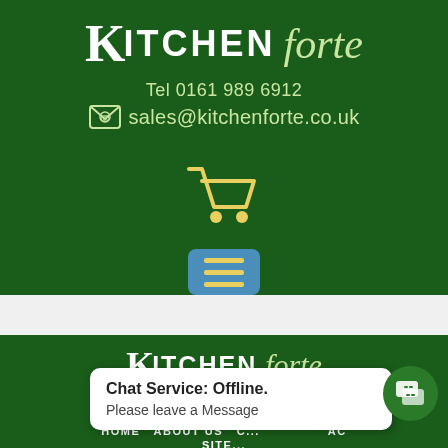[Figure (logo): Kitchen forte logo - top header, white K with KITCHEN text and italic forte in light green]
Tel 0161 989 6912
sales@kitchenforte.co.uk
[Figure (illustration): Yellow shopping cart icon]
[Figure (illustration): Blue rounded square menu button with three yellow horizontal lines (hamburger menu)]
[Figure (logo): Kitchen forte logo - footer, white K with KITCHEN text and italic forte in light green]
Affordable quality
© KITCHEN forte 2016
HOME  ABOUT US  C...  AC
SITE...
Chat Service: Offline.
Please leave a Message